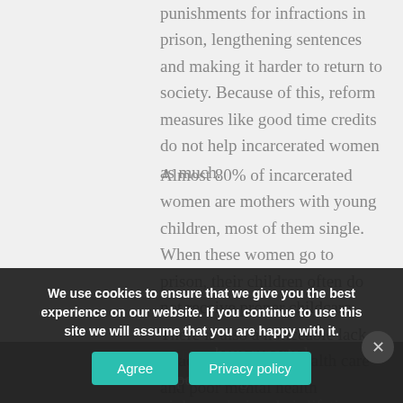punishments for infractions in prison, lengthening sentences and making it harder to return to society. Because of this, reform measures like good time credits do not help incarcerated women as much.
Almost 80% of incarcerated women are mothers with young children, most of them single. When these women go to prison, their children often do not receive proper childcare. There is also a noticeable lack of access to mental health care and poor mental health screening in women's prisons. This
women have reported experiencing sexual violence during their lifetime. To date, reform measures h... ...s unique
We use cookies to ensure that we give you the best experience on our website. If you continue to use this site we will assume that you are happy with it.